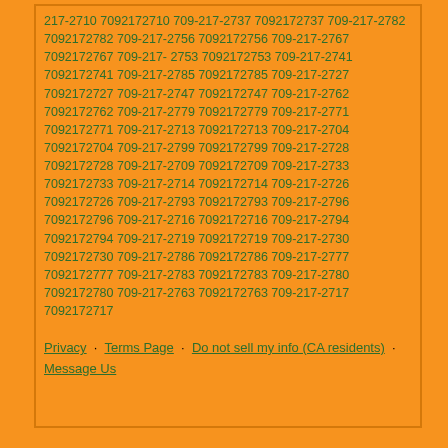217-2710 7092172710 709-217-2737 7092172737 709-217-2782 7092172782 709-217-2756 7092172756 709-217-2767 7092172767 709-217-2753 7092172753 709-217-2741 7092172741 709-217-2785 7092172785 709-217-2727 7092172727 709-217-2747 7092172747 709-217-2762 7092172762 709-217-2779 7092172779 709-217-2771 7092172771 709-217-2713 7092172713 709-217-2704 7092172704 709-217-2799 7092172799 709-217-2728 7092172728 709-217-2709 7092172709 709-217-2733 7092172733 709-217-2714 7092172714 709-217-2726 7092172726 709-217-2793 7092172793 709-217-2796 7092172796 709-217-2716 7092172716 709-217-2794 7092172794 709-217-2719 7092172719 709-217-2730 7092172730 709-217-2786 7092172786 709-217-2777 7092172777 709-217-2783 7092172783 709-217-2780 7092172780 709-217-2763 7092172763 709-217-2717 7092172717
Privacy · Terms Page · Do not sell my info (CA residents) · Message Us